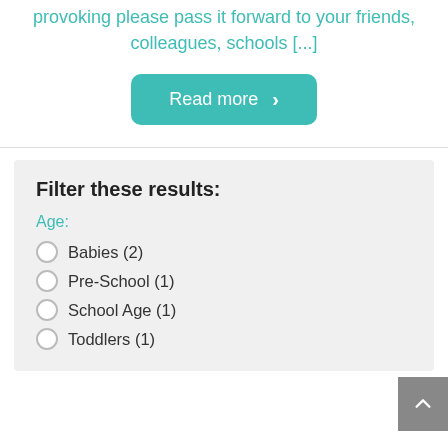provoking please pass it forward to your friends, colleagues, schools [...]
Read more >
Filter these results:
Age:
Babies (2)
Pre-School (1)
School Age (1)
Toddlers (1)